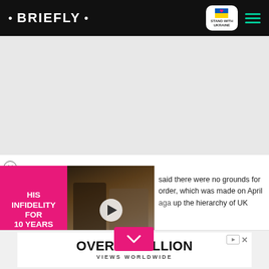• BRIEFLY •  STAND WITH UKRAINE
[Figure (other): Gray advertisement placeholder area]
[Figure (other): Video advertisement panel with pink background showing 'HIS INFIDELITY FOR 10 YEARS' and a couple photo with play button overlay]
said there were no grounds for order, which was made on April aga up the hierarchy of UK
[Figure (other): Bottom banner advertisement: OVER 60 MILLION VIEWS WORLDWIDE]